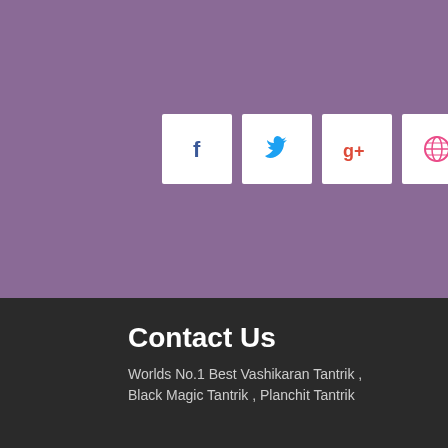[Figure (other): Purple background section with four white social media icon buttons: Facebook (f), Twitter (bird), Google+ (g+), and Dribbble (basketball)]
Contact Us
Worlds No.1 Best Vashikaran Tantrik , Black Magic Tantrik , Planchit Tantrik